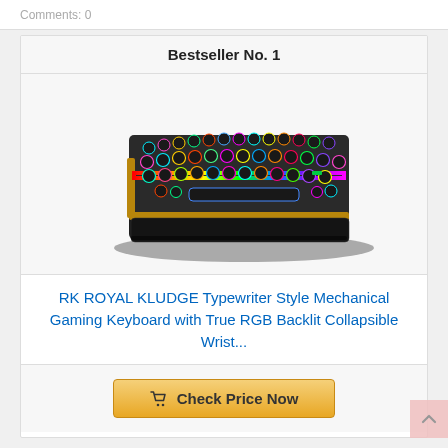Comments: 0
Bestseller No. 1
[Figure (photo): RK Royal Kludge typewriter style mechanical gaming keyboard with RGB backlit keys, angled view showing colorful illuminated round keycaps on a dark body]
RK ROYAL KLUDGE Typewriter Style Mechanical Gaming Keyboard with True RGB Backlit Collapsible Wrist...
Check Price Now